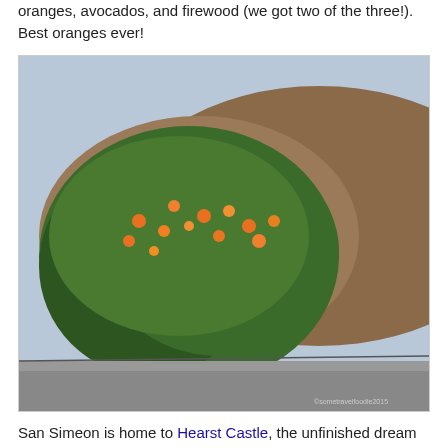oranges, avocados, and firewood (we got two of the three!). Best oranges ever!
[Figure (photo): Orange tree laden with oranges in front of a brown hillside, with a road and fence visible below]
San Simeon is home to Hearst Castle, the unfinished dream of newsman/publisher William Randolph Hearst. I had visited as a teenager in 1989 and vividly remember the beautiful Neptune Pool with it's mosaic tiled floor but sadly it was under construction when we there. (Check out Lady Gaga's G.U.Y. video if you really want to see it!) But the opulence, details, and views of the entire castle and grounds never fail to impress.
[Figure (photo): Partial view of Hearst Castle tower with palm trees against a light sky]